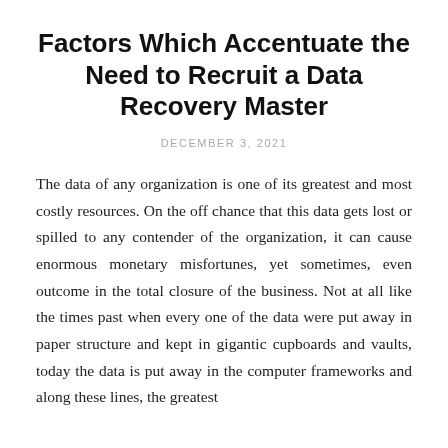Factors Which Accentuate the Need to Recruit a Data Recovery Master
DECEMBER 3, 2021
The data of any organization is one of its greatest and most costly resources. On the off chance that this data gets lost or spilled to any contender of the organization, it can cause enormous monetary misfortunes, yet sometimes, even outcome in the total closure of the business. Not at all like the times past when every one of the data were put away in paper structure and kept in gigantic cupboards and vaults, today the data is put away in the computer frameworks and along these lines, the greatest